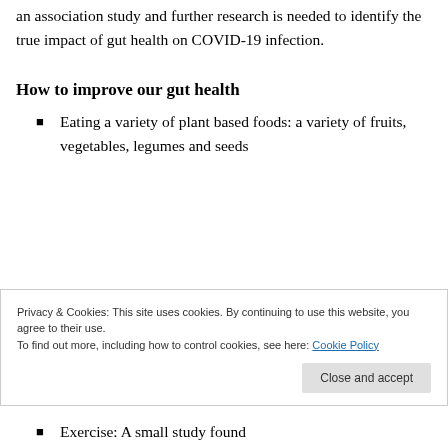an association study and further research is needed to identify the true impact of gut health on COVID-19 infection.
How to improve our gut health
Eating a variety of plant based foods: a variety of fruits, vegetables, legumes and seeds
Privacy & Cookies: This site uses cookies. By continuing to use this website, you agree to their use.
To find out more, including how to control cookies, see here: Cookie Policy
Exercise: A small study found